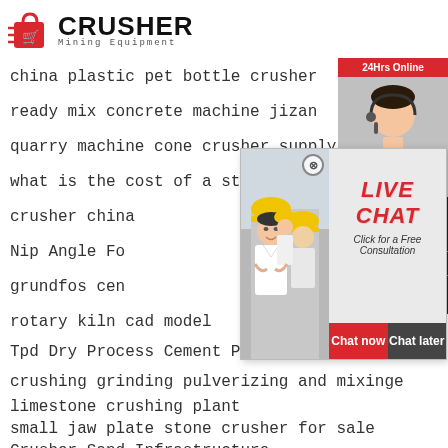[Figure (logo): Crusher Mining Equipment logo with red shopping bag icon and bold CRUSHER text]
china plastic pet bottle crusher
ready mix concrete machine jizan
quarry machine cone crusher supply
what is the cost of a stone crusher in india
crusher china
Nip Angle Fo
grundfos cen
rotary kiln cad model
Tpd Dry Process Cement Plant Equipment Lis
crushing grinding pulverizing and mixinge
limestone crushing plant
small jaw plate stone crusher for sale
Crusher Sand Infrastructure
[Figure (screenshot): Live Chat popup with construction workers image, LIVE CHAT heading, Click for a Free Consultation, Chat now and Chat later buttons]
[Figure (screenshot): Right sidebar with 24Hrs Online banner, customer service agent photo, Need questions & suggestion Chat Now button, Enquiry section, limingjlmofen@sina.com email]